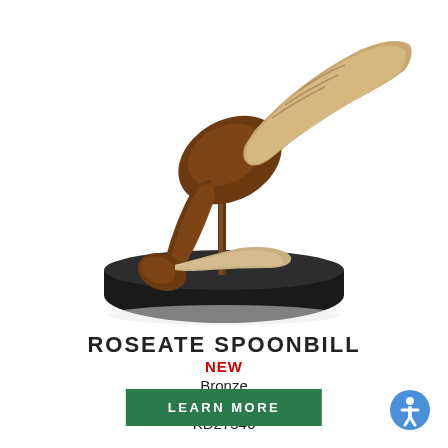[Figure (photo): Bronze sculpture of a Roseate Spoonbill bird on a dark circular base, photographed on white background. The bird's body curves downward with its bill extended and wings raised.]
ROSEATE SPOONBILL
NEW
Bronze
14 1/2 X 14 1/2 X 8
KD27546
LEARN MORE